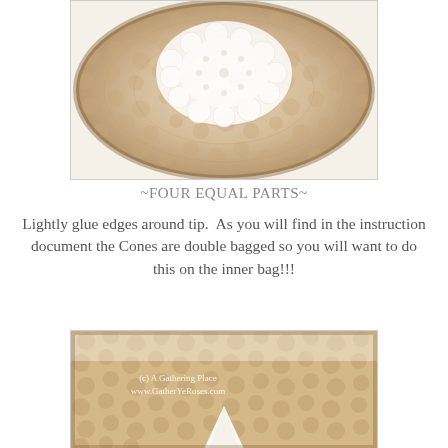[Figure (photo): Close-up photo of a round quilted fabric item with a white lace doily placed on top, showing textured beige/cream fabric with circular stitching patterns.]
~FOUR EQUAL PARTS~
Lightly glue edges around tip.  As you will find in the instruction document the Cones are double bagged so you will want to do this on the inner bag!!!
[Figure (photo): Close-up photo of a round quilted fabric item with a white cone/tip shape visible at the bottom center, and watermark text reading '(c) A Gathering Place www.GatherYeRoses.com'.]